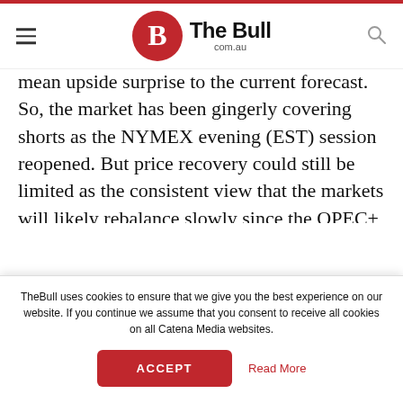The Bull com.au
mean upside surprise to the current forecast. So, the market has been gingerly covering shorts as the NYMEX evening (EST) session reopened. But price recovery could still be limited as the consistent view that the markets will likely rebalance slowly since the OPEC+ deal in its current format won't offset 2Q demand, continues to resonate over the near term.
Still, visibility on the duration is positive as this provides more wiggle room for shut-ins or even additional storage to more effectively bringing the supply and demand equation to more
TheBull uses cookies to ensure that we give you the best experience on our website. If you continue we assume that you consent to receive all cookies on all Catena Media websites.